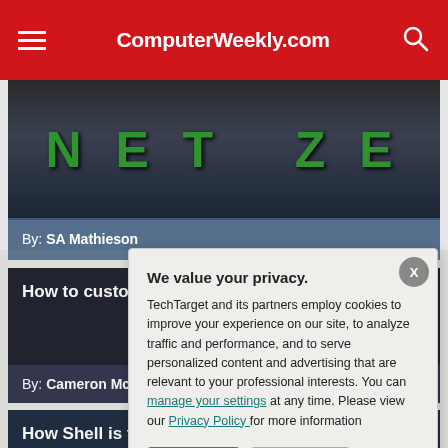ComputerWeekly.com
[Figure (screenshot): Article thumbnail showing dark background with green letters N E T Z E, byline 'By: SA Mathieson']
By: SA Mathieson
How to custom...
By: Cameron Mck...
How Shell is fle...
We value your privacy. TechTarget and its partners employ cookies to improve your experience on our site, to analyze traffic and performance, and to serve personalized content and advertising that are relevant to your professional interests. You can manage your settings at any time. Please view our Privacy Policy for more information